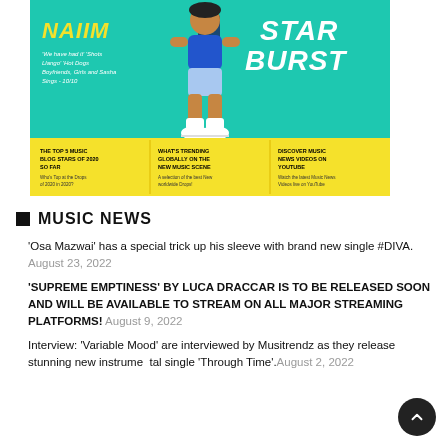[Figure (illustration): Promotional banner for NAIIM Starburst music blog featuring a cartoon character in blue shorts and white sneakers, yellow NAIIM text, 'STAR BURST' in white italic text on teal background, with yellow bottom strip showing three columns: 'THE TOP 5 MUSIC BLOG STARS OF 2020 SO FAR', 'WHAT'S TRENDING GLOBALLY ON THE NEW MUSIC SCENE', 'DISCOVER MUSIC NEWS VIDEOS ON YOUTUBE']
MUSIC NEWS
'Osa Mazwai' has a special trick up his sleeve with brand new single #DIVA. August 23, 2022
'SUPREME EMPTINESS' BY LUCA DRACCAR IS TO BE RELEASED SOON AND WILL BE AVAILABLE TO STREAM ON ALL MAJOR STREAMING PLATFORMS! August 9, 2022
Interview: 'Variable Mood' are interviewed by Musitrendz as they release stunning new instrumental single 'Through Time'. August 2, 2022